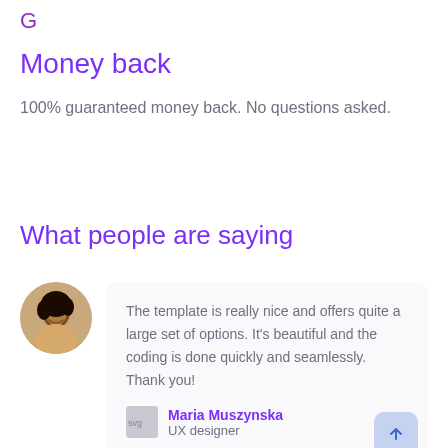G
Money back
100% guaranteed money back. No questions asked.
What people are saying
The template is really nice and offers quite a large set of options. It's beautiful and the coding is done quickly and seamlessly. Thank you!
Maria Muszynska
UX designer